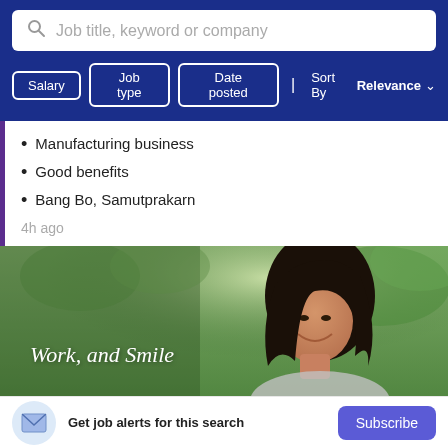[Figure (screenshot): Search bar with placeholder text 'Job title, keyword or company' and a search icon on the left, white background, rounded corners]
Salary  Job type  Date posted  | Sort By Relevance
Manufacturing business
Good benefits
Bang Bo, Samutprakarn
4h ago
[Figure (photo): Banner image showing a smiling young Asian woman with long dark hair outdoors in a green park setting. White serif italic text reads 'Work, and Smile']
Get job alerts for this search